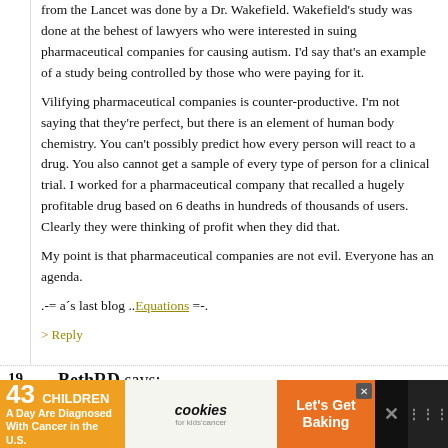from the Lancet was done by a Dr. Wakefield. Wakefield's study was done at the behest of lawyers who were interested in suing pharmaceutical companies for causing autism. I'd say that's an example of a study being controlled by those who were paying for it.
Vilifying pharmaceutical companies is counter-productive. I'm not saying that they're perfect, but there is an element of human body chemistry. You can't possibly predict how every person will react to a drug. You also cannot get a sample of every type of person for a clinical trial. I worked for a pharmaceutical company that recalled a hugely profitable drug based on 6 deaths in hundreds of thousands of users. Clearly they were thinking of profit when they did that.
My point is that pharmaceutical companies are not evil. Everyone has an agenda.
.-= a´s last blog ..Equations =-.
> Reply
19.  BethRD says:
[Figure (infographic): Advertisement banner: '43 CHILDREN A Day Are Diagnosed With Cancer in the U.S.' with cookies for kids' cancer logo and 'Let's Get Baking' call to action on orange background, with close button and social media icons.]